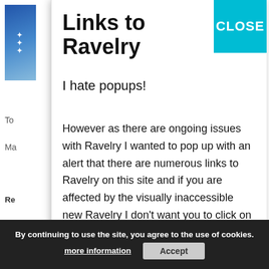Links to Ravelry
I hate popups!
However as there are ongoing issues with Ravelry I wanted to pop up with an alert that there are numerous links to Ravelry on this site and if you are affected by the visually inaccessible new Ravelry I don't want you to click on links. For more info please see my post on the front page of the website.
Thanks for stopping by the WoolWork website
the baskets they are using and the clothes they are wearing. These are brilliant! I agree the last photo has a lot of spirit and I could not help but creating a story in my mind – who they were, what they were doing
Reply
By continuing to use the site, you agree to the use of cookies.
more information
Accept